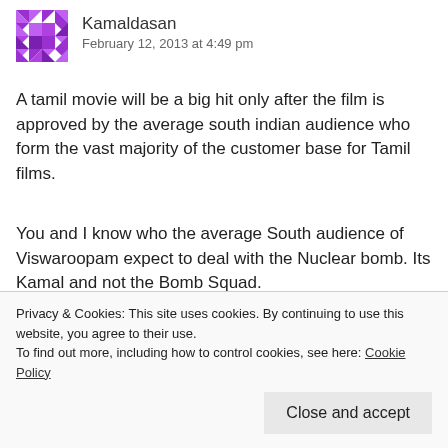[Figure (illustration): Purple geometric/mosaic avatar icon for user Kamaldasan]
Kamaldasan
February 12, 2013 at 4:49 pm
A tamil movie will be a big hit only after the film is approved by the average south indian audience who form the vast majority of the customer base for Tamil films.
You and I know who the average South audience of Viswaroopam expect to deal with the Nuclear bomb. Its Kamal and not the Bomb Squad.
I have watched Viswaroopm 3 times already now. Some section of the audience are still clueless where in the Film, Kamal's
Privacy & Cookies: This site uses cookies. By continuing to use this website, you agree to their use.
To find out more, including how to control cookies, see here: Cookie Policy
Close and accept